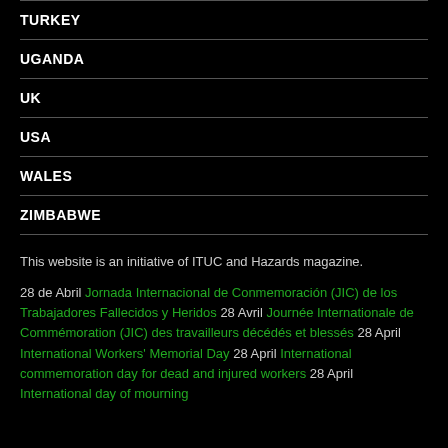TURKEY
UGANDA
UK
USA
WALES
ZIMBABWE
This website is an initiative of ITUC and Hazards magazine.
28 de Abril Jornada Internacional de Conmemoración (JIC) de los Trabajadores Fallecidos y Heridos 28 Avril Journée Internationale de Commémoration (JIC) des travailleurs décédés et blessés 28 April International Workers' Memorial Day 28 April International commemoration day for dead and injured workers 28 April International day of mourning